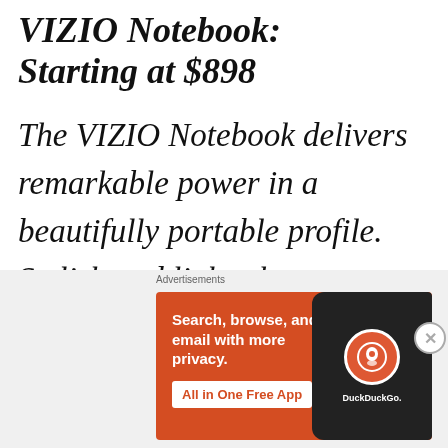VIZIO Notebook: Starting at $898
The VIZIO Notebook delivers remarkable power in a beautifully portable profile. Stylish and light, the aluminum construction
[Figure (illustration): DuckDuckGo advertisement banner with orange background. Text: 'Search, browse, and email with more privacy. All in One Free App'. Shows a phone with DuckDuckGo logo.]
Advertisements